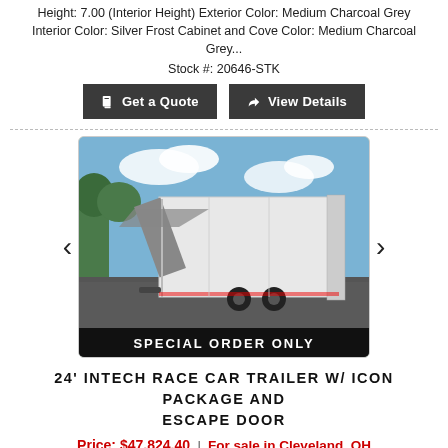Height: 7.00 (Interior Height) Exterior Color: Medium Charcoal Grey Interior Color: Silver Frost Cabinet and Cove Color: Medium Charcoal Grey...
Stock #: 20646-STK
Get a Quote | View Details
[Figure (photo): White enclosed race car trailer with side door open and awning extended, parked on a paved lot with trees in background. Black banner at bottom reads SPECIAL ORDER ONLY.]
24' INTECH RACE CAR TRAILER W/ ICON PACKAGE AND ESCAPE DOOR
Price: $47,824.40 | For sale in Cleveland, OH
PRINTS AND BUILD SHEET CAN BE FOUND ABOVE. 24' inTech All Aluminum Racecar Trailer WITH ICON Package, Escape Door, Loaded with Options